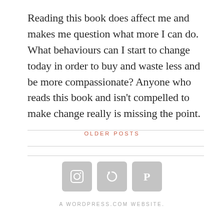Reading this book does affect me and makes me question what more I can do. What behaviours can I start to change today in order to buy and waste less and be more compassionate? Anyone who reads this book and isn't compelled to make change really is missing the point.
OLDER POSTS
[Figure (illustration): Three social media icon buttons in rounded square shapes (grey): Instagram camera icon, a circular arrow/loop icon, and Pinterest P icon]
A WORDPRESS.COM WEBSITE.